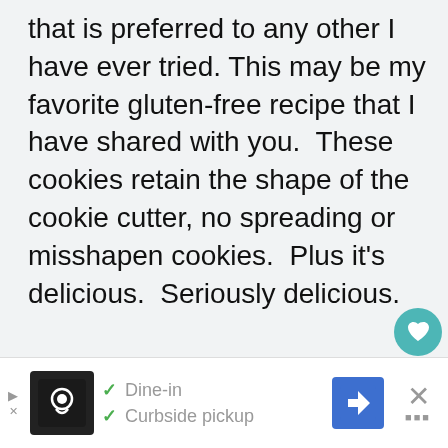that is preferred to any other I have ever tried. This may be my favorite gluten-free recipe that I have shared with you.  These cookies retain the shape of the cookie cutter, no spreading or misshapen cookies.  Plus it's delicious.  Seriously delicious.
[Figure (other): Social interaction buttons: teal heart/favorite button with count of 1, and a share button below]
[Figure (other): Advertisement bar at bottom showing restaurant with Dine-in and Curbside pickup options, navigation icon, and close button]